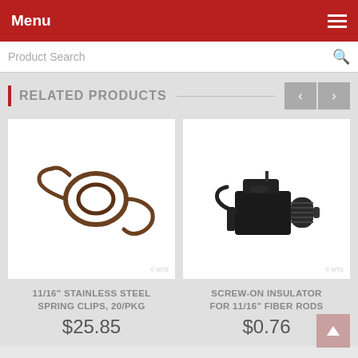Menu
Product Search
RELATED PRODUCTS
[Figure (photo): A stainless steel spring clip with coiled and hooked wire ends on a white background. Watermark: © WTS]
11/16" STAINLESS STEEL SPRING CLIPS, 20/PKG
$25.85
[Figure (photo): A black screw-on insulator hardware component for fiber rods on a white background. Watermark: © WTS]
SCREW-ON INSULATOR FOR 11/16" FIBER RODS
$0.76